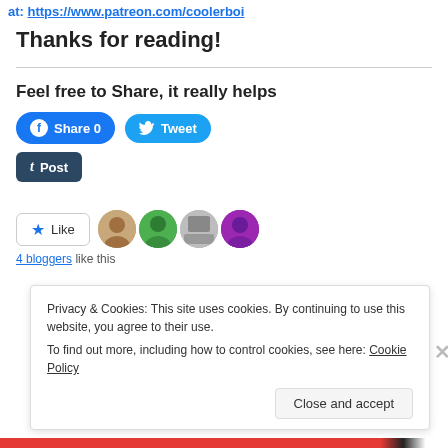at: https://www.patreon.com/coolerboi
Thanks for reading!
Feel free to Share, it really helps
[Figure (infographic): Social share buttons: Facebook Share 0, Tweet, Tumblr Post]
[Figure (infographic): Like button with star icon and 4 blogger avatar thumbnails]
4 bloggers like this
Privacy & Cookies: This site uses cookies. By continuing to use this website, you agree to their use.
To find out more, including how to control cookies, see here: Cookie Policy
Close and accept